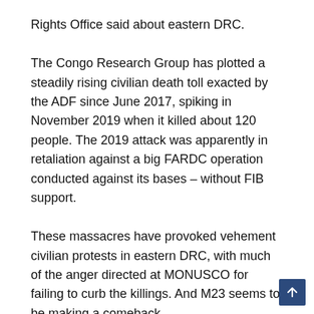Rights Office said about eastern DRC.
The Congo Research Group has plotted a steadily rising civilian death toll exacted by the ADF since June 2017, spiking in November 2019 when it killed about 120 people. The 2019 attack was apparently in retaliation against a big FARDC operation conducted against its bases – without FIB support.
These massacres have provoked vehement civilian protests in eastern DRC, with much of the anger directed at MONUSCO for failing to curb the killings. And M23 seems to be making a comeback.
If the FIB has, de facto if not de jure, lost its original mandate to aggressively go after rebel groups, why is